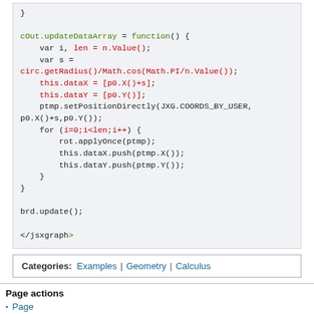} 

cOut.updateDataArray = function() {
    var i, len = n.Value();
    var s =
circ.getRadius()/Math.cos(Math.PI/n.Value());
    this.dataX = [p0.X()+s];
    this.dataY = [p0.Y()];
    ptmp.setPositionDirectly(JXG.COORDS_BY_USER,
p0.X()+s,p0.Y());
    for (i=0;i<len;i++) {
        rot.applyOnce(ptmp);
        this.dataX.push(ptmp.X());
        this.dataY.push(ptmp.Y());
    }
}

brd.update();

</jsxgraph>
Categories: Examples | Geometry | Calculus
Page actions
Page
Discussion
View source
History
Personal tools